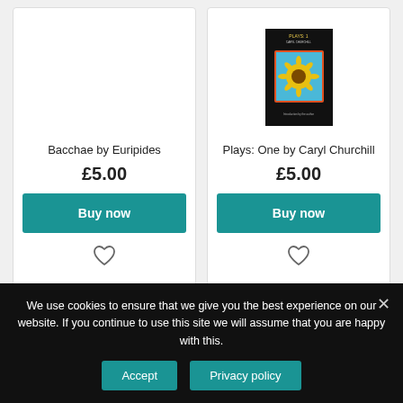[Figure (photo): Product card for book: Bacchae by Euripides, price £5.00, with Buy now button and heart icon]
Bacchae by Euripides
£5.00
Buy now
[Figure (photo): Product card for book: Plays: One by Caryl Churchill, price £5.00, with Buy now button and heart icon. Book cover shows a sunflower image on dark background.]
Plays: One by Caryl Churchill
£5.00
Buy now
We use cookies to ensure that we give you the best experience on our website. If you continue to use this site we will assume that you are happy with this.
Accept
Privacy policy